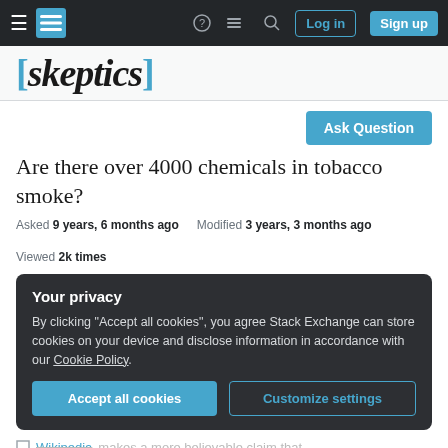[skeptics] navigation bar with Log in and Sign up buttons
[skeptics]
Ask Question
Are there over 4000 chemicals in tobacco smoke?
Asked 9 years, 6 months ago   Modified 3 years, 3 months ago   Viewed 2k times
Your privacy
By clicking "Accept all cookies", you agree Stack Exchange can store cookies on your device and disclose information in accordance with our Cookie Policy.
Accept all cookies   Customize settings
Wikipedia makes a more believable claim that [...] there are 4000 chemicals ...